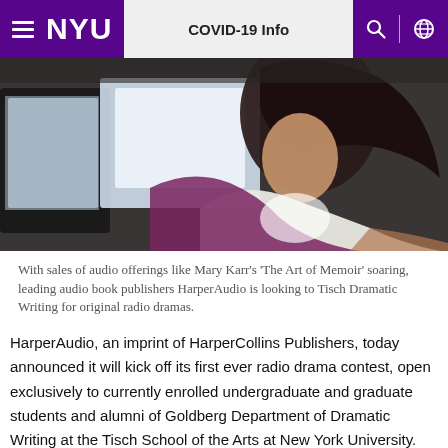NYU | COVID-19 Info
[Figure (photo): A person with dark hair leaning over a tablet or screen in a dimly lit room, wearing a white shirt and purple top.]
With sales of audio offerings like Mary Karr's ‘The Art of Memoir’ soaring, leading audio book publishers HarperAudio is looking to Tisch Dramatic Writing for original radio dramas.
HarperAudio, an imprint of HarperCollins Publishers, today announced it will kick off its first ever radio drama contest, open exclusively to currently enrolled undergraduate and graduate students and alumni of Goldberg Department of Dramatic Writing at the Tisch School of the Arts at New York University.